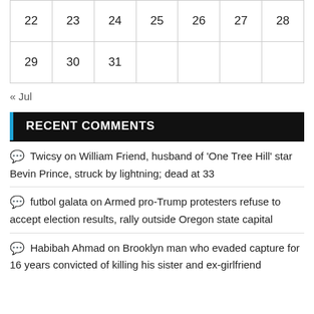| 22 | 23 | 24 | 25 | 26 | 27 | 28 |
| 29 | 30 | 31 |  |  |  |  |
« Jul
RECENT COMMENTS
Twicsy on William Friend, husband of 'One Tree Hill' star Bevin Prince, struck by lightning; dead at 33
futbol galata on Armed pro-Trump protesters refuse to accept election results, rally outside Oregon state capital
Habibah Ahmad on Brooklyn man who evaded capture for 16 years convicted of killing his sister and ex-girlfriend